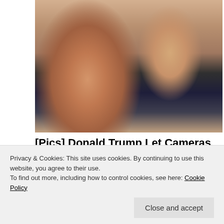[Figure (photo): Close-up photo of two people, a woman with long blonde hair and a man in a dark suit with a red patterned tie, cropped at top of page]
[Pics] Donald Trump Let Cameras Into His Mar-a-Lago Home, Look What They Find Inside
BuzzAura
[Figure (photo): Photo of a group of people outdoors with green foliage background, partially visible]
Privacy & Cookies: This site uses cookies. By continuing to use this website, you agree to their use.
To find out more, including how to control cookies, see here: Cookie Policy
Close and accept